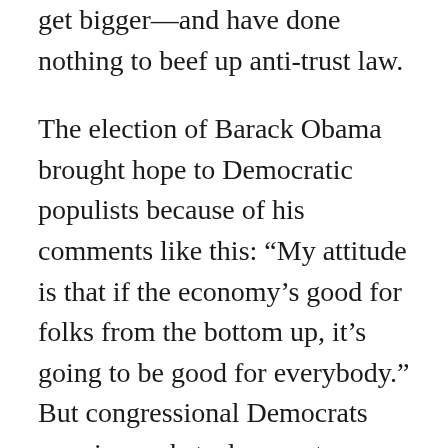get bigger—and have done nothing to beef up anti-trust law.
The election of Barack Obama brought hope to Democratic populists because of his comments like this: “My attitude is that if the economy’s good for folks from the bottom up, it’s going to be good for everybody.” But congressional Democrats remain an obstacle even to Obama, who had to scale back any plans he had for “trickle-up” economics.
One place where liberals have been able